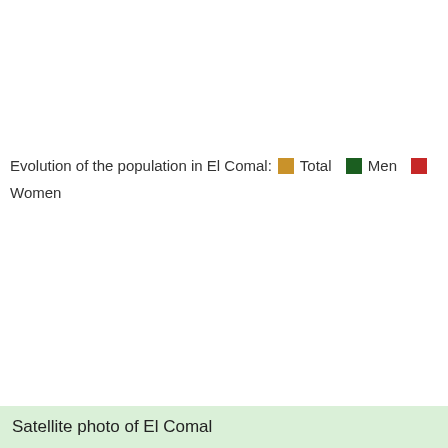Evolution of the population in El Comal: Total  Men  Women
Satellite photo of El Comal